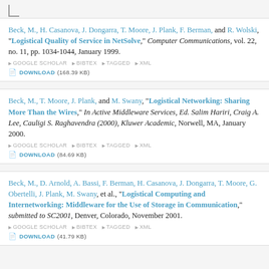Beck, M., H. Casanova, J. Dongarra, T. Moore, J. Plank, F. Berman, and R. Wolski, "Logistical Quality of Service in NetSolve," Computer Communications, vol. 22, no. 11, pp. 1034-1044, January 1999. GOOGLE SCHOLAR BIBTEX TAGGED XML DOWNLOAD (168.39 KB)
Beck, M., T. Moore, J. Plank, and M. Swany, "Logistical Networking: Sharing More Than the Wires," In Active Middleware Services, Ed. Salim Hariri, Craig A. Lee, Cauligi S. Raghavendra (2000), Kluwer Academic, Norwell, MA, January 2000. GOOGLE SCHOLAR BIBTEX TAGGED XML DOWNLOAD (84.69 KB)
Beck, M., D. Arnold, A. Bassi, F. Berman, H. Casanova, J. Dongarra, T. Moore, G. Obertelli, J. Plank, M. Swany, et al., "Logistical Computing and Internetworking: Middleware for the Use of Storage in Communication," submitted to SC2001, Denver, Colorado, November 2001. GOOGLE SCHOLAR BIBTEX TAGGED XML DOWNLOAD (41.79 KB)